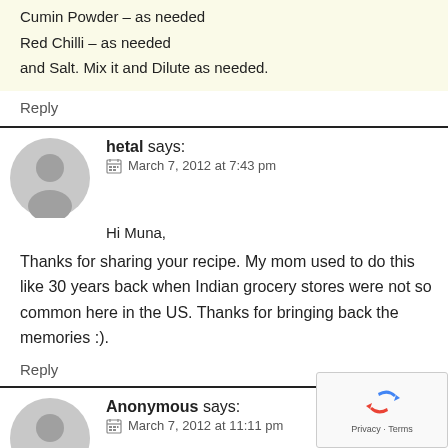Cumin Powder – as needed
Red Chilli – as needed
and Salt. Mix it and Dilute as needed.
Reply
hetal says:
March 7, 2012 at 7:43 pm
Hi Muna,
Thanks for sharing your recipe. My mom used to do this like 30 years back when Indian grocery stores were not so common here in the US. Thanks for bringing back the memories :).
Reply
Anonymous says:
March 7, 2012 at 11:11 pm